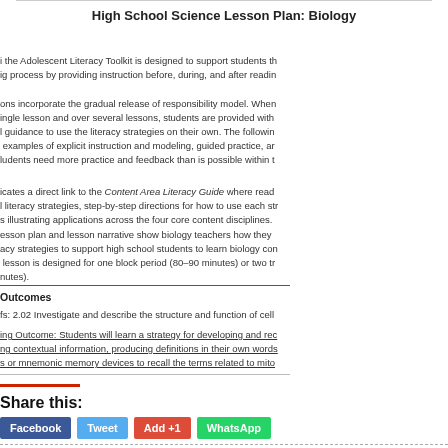High School Science Lesson Plan: Biology
i the Adolescent Literacy Toolkit is designed to support students th ig process by providing instruction before, during, and after readin
ons incorporate the gradual release of responsibility model. When ingle lesson and over several lessons, students are provided with l guidance to use the literacy strategies on their own. The followin examples of explicit instruction and modeling, guided practice, ar ludents need more practice and feedback than is possible within t
icates a direct link to the Content Area Literacy Guide where read literacy strategies, step-by-step directions for how to use each str s illustrating applications across the four core content disciplines.
esson plan and lesson narrative show biology teachers how they acy strategies to support high school students to learn biology con lesson is designed for one block period (80–90 minutes) or two tr nutes).
Outcomes
fs: 2.02 Investigate and describe the structure and function of cell
ing Outcome: Students will learn a strategy for developing and rec ng contextual information, producing definitions in their own words s or mnemonic memory devices to recall the terms related to mito
Share this:
Facebook
Tweet
Add +1
WhatsApp